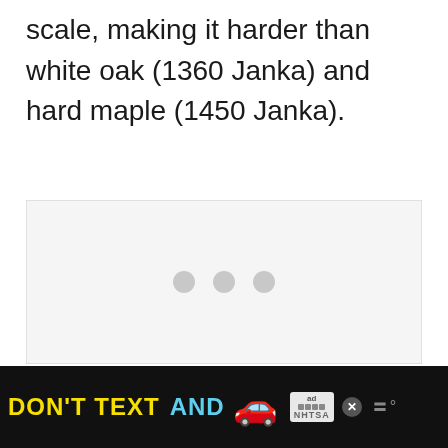scale, making it harder than white oak (1360 Janka) and hard maple (1450 Janka).
[Figure (other): A loading placeholder image area with a light gray background and three gray dots in the center, indicating an image is loading.]
[Figure (other): Advertisement banner with black background. Yellow text reads DON'T TEXT, cyan text reads AND, followed by a red car emoji, an ad badge icon, a close button, NHTSA logo block, and a weather app icon.]